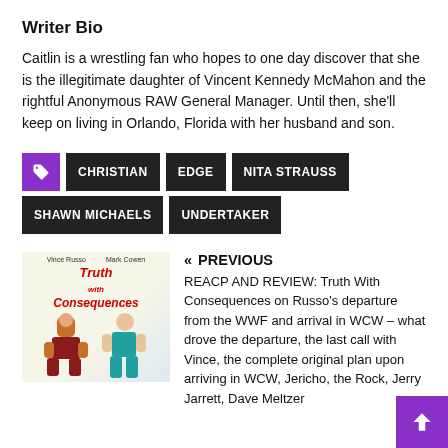Writer Bio
Caitlin is a wrestling fan who hopes to one day discover that she is the illegitimate daughter of Vincent Kennedy McMahon and the rightful Anonymous RAW General Manager. Until then, she'll keep on living in Orlando, Florida with her husband and son.
CHRISTIAN
EDGE
NITA STRAUSS
SHAWN MICHAELS
UNDERTAKER
[Figure (illustration): Book cover for 'Truth with Consequences' showing two cartoon wrestling figures]
« PREVIOUS
REACP AND REVIEW: Truth With Consequences on Russo's departure from the WWF and arrival in WCW – what drove the departure, the last call with Vince, the complete original plan upon arriving in WCW, Jericho, the Rock, Jerry Jarrett, Dave Meltzer